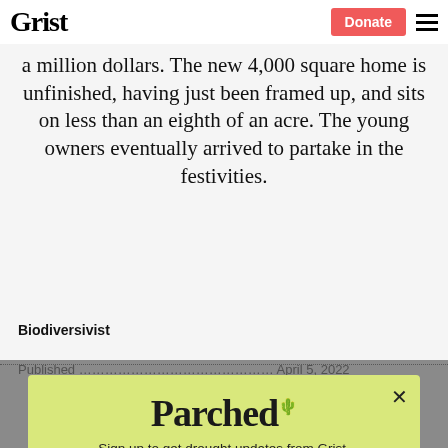Grist | Donate
a million dollars. The new 4,000 square home is unfinished, having just been framed up, and sits on less than an eighth of an acre. The young owners eventually arrived to partake in the festivities.
Biodiversivist
[Figure (other): Modal popup newsletter signup overlay for 'Parched' newsletter from Grist. Lime/yellow-green background. Contains title 'Parched', subtitle 'Sign up to get drought updates from Grist.', email input field with placeholder 'Enter your email', a 'SIGN UP' button, and a 'No thanks' link. Close button (X) in top right.]